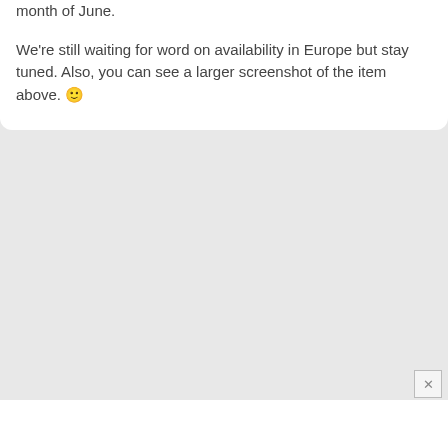month of June.
We're still waiting for word on availability in Europe but stay tuned. Also, you can see a larger screenshot of the item above. 🙂